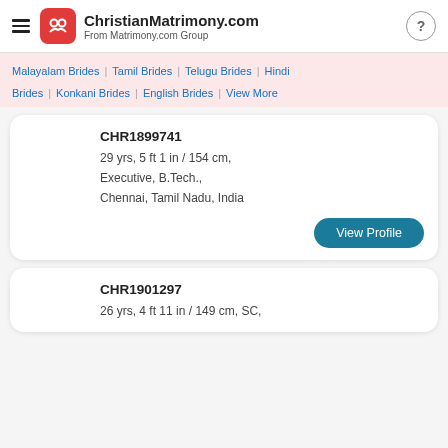ChristianMatrimony.com — From Matrimony.com Group
Malayalam Brides | Tamil Brides | Telugu Brides | Hindi Brides | Konkani Brides | English Brides | View More
CHR1899741
29 yrs, 5 ft 1 in / 154 cm,
Executive, B.Tech.,
Chennai, Tamil Nadu, India
View Profile
CHR1901297
26 yrs, 4 ft 11 in / 149 cm, SC,